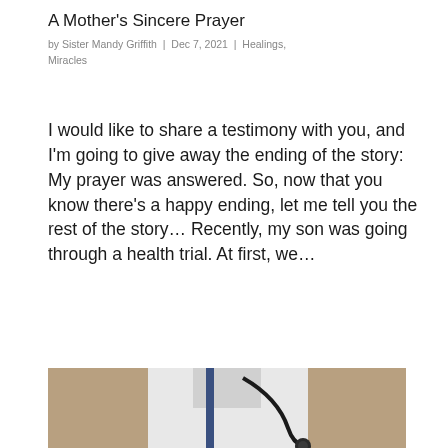A Mother's Sincere Prayer
by Sister Mandy Griffith | Dec 7, 2021 | Healings, Miracles
I would like to share a testimony with you, and I'm going to give away the ending of the story: My prayer was answered. So, now that you know there's a happy ending, let me tell you the rest of the story… Recently, my son was going through a health trial. At first, we…
[Figure (photo): A person wearing a white coat (doctor) with a stethoscope around their neck, photo cropped at chest level]